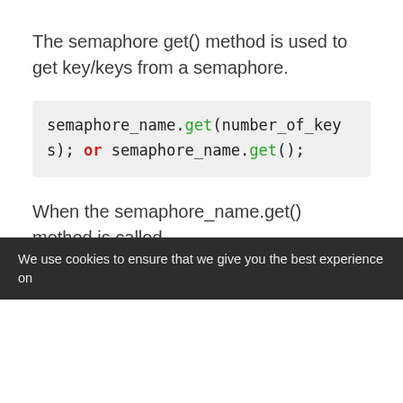The semaphore get() method is used to get key/keys from a semaphore.
[Figure (screenshot): Code block showing: semaphore_name.get(number_of_keys); or semaphore_name.get();]
When the semaphore_name.get() method is called,
if the ... (partially visible, faded)
We use cookies to ensure that we give you the best experience on our website...